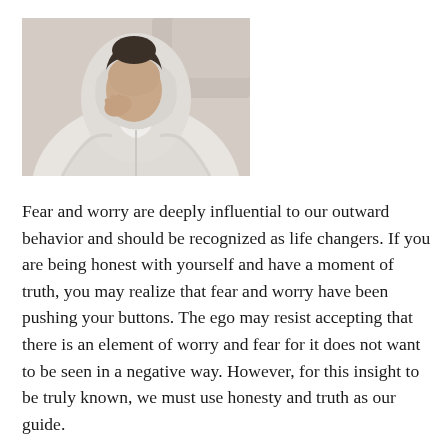[Figure (photo): A person wearing a white/grey hoodie with head bowed down, resting hand near face, appearing distressed or worried. Photo is in muted grey tones.]
Fear and worry are deeply influential to our outward behavior and should be recognized as life changers. If you are being honest with yourself and have a moment of truth, you may realize that fear and worry have been pushing your buttons. The ego may resist accepting that there is an element of worry and fear for it does not want to be seen in a negative way. However, for this insight to be truly known, we must use honesty and truth as our guide.